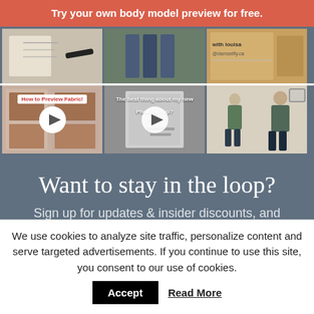Try your own body model preview for free.
[Figure (photo): Top row of three Instagram-style thumbnail images: fashion sketch with pen, outfit flat lay photo, tutorial image with text 'with louisa @damselfly.ca']
[Figure (photo): Bottom row of three Instagram-style thumbnails: 'How to Preview Fabric!' video with play button, 'The best thing about my new Photinia Top?' video with play button, body model comparison photo with person]
Want to stay in the loop?
Sign up for updates & insider discounts, and
We use cookies to analyze site traffic, personalize content and serve targeted advertisements. If you continue to use this site, you consent to our use of cookies.
Accept
Read More